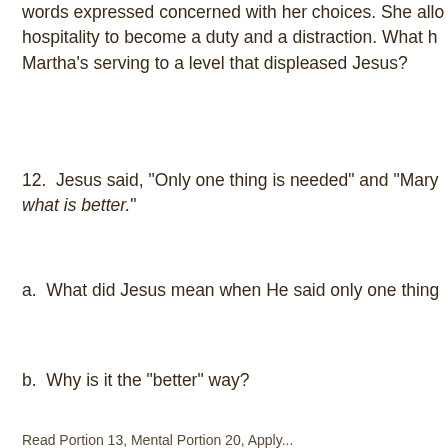words expressed concerned with her choices. She allo hospitality to become a duty and a distraction. What h Martha’s serving to a level that displeased Jesus?
12.  Jesus said, “Only one thing is needed” and “Mary what is better.”
a.  What did Jesus mean when He said only one thing
b.  Why is it the “better” way?
Read Portion 13, Mental Portion 20, Apply...